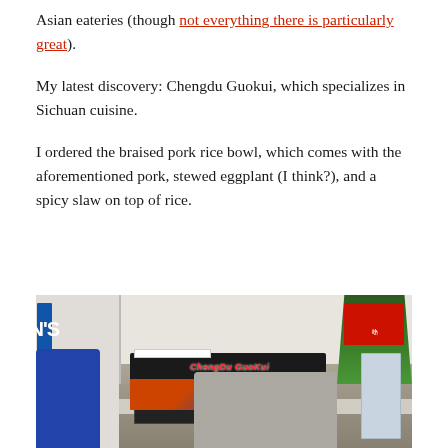Asian eateries (though not everything there is particularly great).
My latest discovery: Chengdu Guokui, which specializes in Sichuan cuisine.
I ordered the braised pork rice bowl, which comes with the aforementioned pork, stewed eggplant (I think?), and a spicy slaw on top of rice.
[Figure (photo): Exterior photo of Chengdu Guokui restaurant stall in a food court, showing the ChengDu GuoKui sign in red script with Chinese characters, menu boards, a blue sign partially visible on the left reading N'S, green plants on the right, counter with workers and customers, refrigerator on right side.]